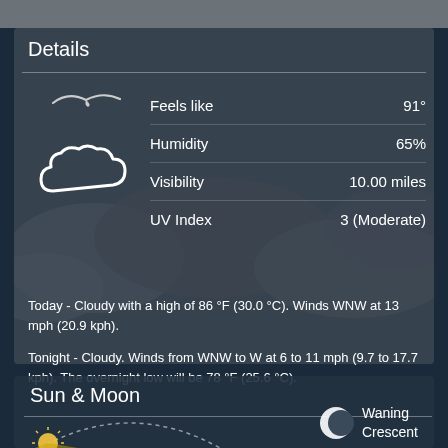Details
|  |  |
| --- | --- |
| Feels like | 91° |
| Humidity | 65% |
| Visibility | 10.00 miles |
| UV Index | 3 (Moderate) |
[Figure (illustration): Weather icon: bird silhouette and cloud outline icon in white]
Today - Cloudy with a high of 86 °F (30.0 °C). Winds WNW at 13 mph (20.9 kph).
Tonight - Cloudy. Winds from WNW to W at 6 to 11 mph (9.7 to 17.7 kph). The overnight low will be 78 °F (25.6 °C).
Sun & Moon
[Figure (illustration): Sun position arc diagram showing sun icon with dashed arc path]
[Figure (illustration): Waning Crescent moon phase icon]
Waning Crescent